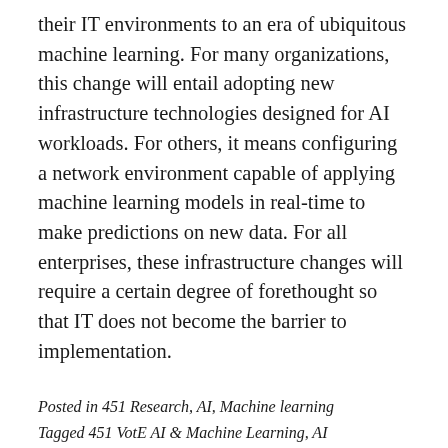their IT environments to an era of ubiquitous machine learning. For many organizations, this change will entail adopting new infrastructure technologies designed for AI workloads. For others, it means configuring a network environment capable of applying machine learning models in real-time to make predictions on new data. For all enterprises, these infrastructure changes will require a certain degree of forethought so that IT does not become the barrier to implementation.
Posted in 451 Research, AI, Machine learning
Tagged 451 VotE AI & Machine Learning, AI infrastructure, AI Platforms, cloud